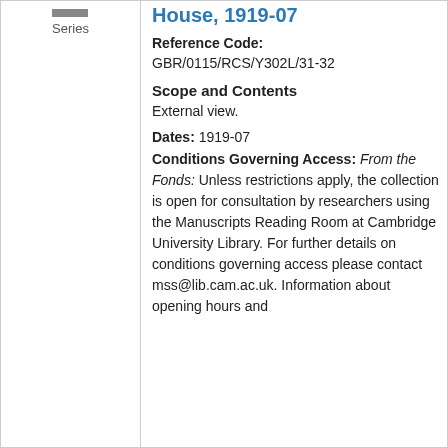Series
House, 1919-07
Reference Code: GBR/0115/RCS/Y302L/31-32
Scope and Contents
External view.
Dates: 1919-07
Conditions Governing Access: From the Fonds: Unless restrictions apply, the collection is open for consultation by researchers using the Manuscripts Reading Room at Cambridge University Library. For further details on conditions governing access please contact mss@lib.cam.ac.uk. Information about opening hours and